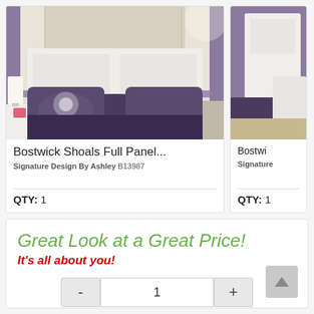[Figure (photo): Bostwick Shoals Full Panel bed with white headboard, purple floral bedding, in a bedroom with purple walls and white shutters]
Bostwick Shoals Full Panel...
Signature Design By Ashley B13987
QTY: 1
[Figure (photo): Partial view of second Bostwick product with white furniture and purple decor]
Bostwi
Signature
QTY: 1
Great Look at a Great Price!
It's all about you!
- 1 +